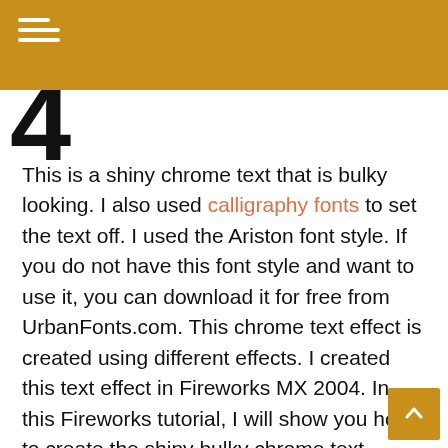Navigation menu header bar with hamburger icon
[Figure (other): Large cropped display characters: 0 6 / 0 4 in a bold black font, partially visible at top of page]
This is a shiny chrome text that is bulky looking. I also used calligraphy fonts to set the text off. I used the Ariston font style. If you do not have this font style and want to use it, you can download it for free from UrbanFonts.com. This chrome text effect is created using different effects. I created this text effect in Fireworks MX 2004. In this Fireworks tutorial, I will show you how to create the shiny bulky chrome text.
You will first need to create a canvas to work on. You can create it larger than you need so that you will have space to work. Then you can crop it before exporting your text. After creating your canvas, select the text tool. Draw a large text box on the canvas and type what